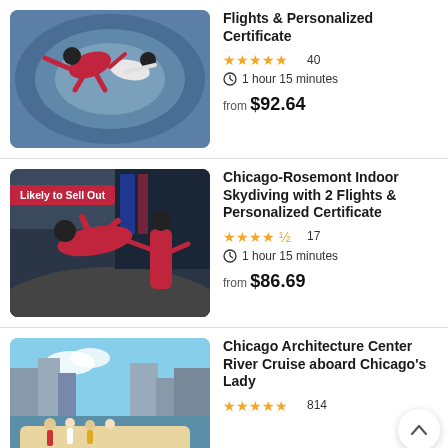[Figure (photo): Two people in red flight suits doing indoor skydiving in a wind tunnel]
Flights & Personalized Certificate
★★★★★ 40  ⏱ 1 hour 15 minutes  from $92.64
[Figure (photo): Child and instructor in red flight suits in indoor skydiving wind tunnel, with 'Likely to Sell Out' badge]
Chicago-Rosemont Indoor Skydiving with 2 Flights & Personalized Certificate
★★★★½ 17  ⏱ 1 hour 15 minutes  from $86.69
[Figure (photo): People on a boat river cruise with Chicago skyscrapers in the background]
Chicago Architecture Center River Cruise aboard Chicago's Lady
★★★★★ 814